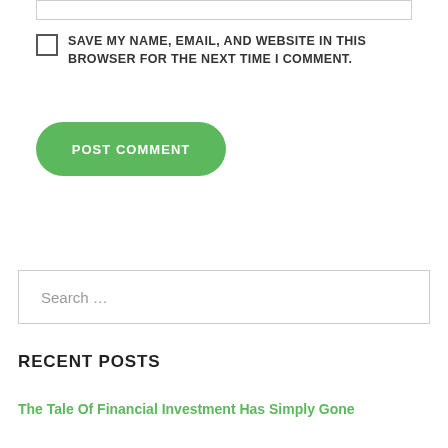SAVE MY NAME, EMAIL, AND WEBSITE IN THIS BROWSER FOR THE NEXT TIME I COMMENT.
[Figure (other): POST COMMENT button — green rounded rectangle button with white uppercase text]
Search …
RECENT POSTS
The Tale Of Financial Investment Has Simply Gone